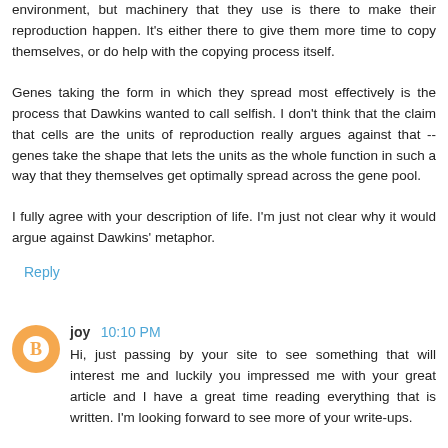environment, but machinery that they use is there to make their reproduction happen. It's either there to give them more time to copy themselves, or do help with the copying process itself.
Genes taking the form in which they spread most effectively is the process that Dawkins wanted to call selfish. I don't think that the claim that cells are the units of reproduction really argues against that -- genes take the shape that lets the units as the whole function in such a way that they themselves get optimally spread across the gene pool.
I fully agree with your description of life. I'm just not clear why it would argue against Dawkins' metaphor.
Reply
joy 10:10 PM
Hi, just passing by your site to see something that will interest me and luckily you impressed me with your great article and I have a great time reading everything that is written. I'm looking forward to see more of your write-ups.